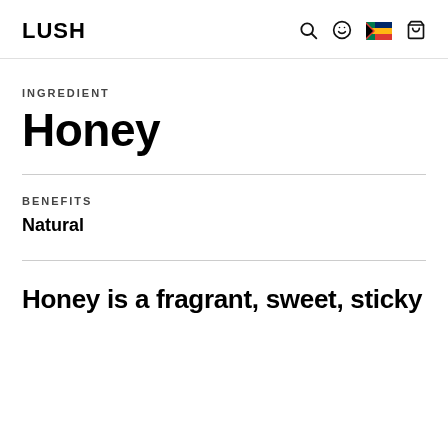LUSH
INGREDIENT
Honey
BENEFITS
Natural
Honey is a fragrant, sweet, sticky